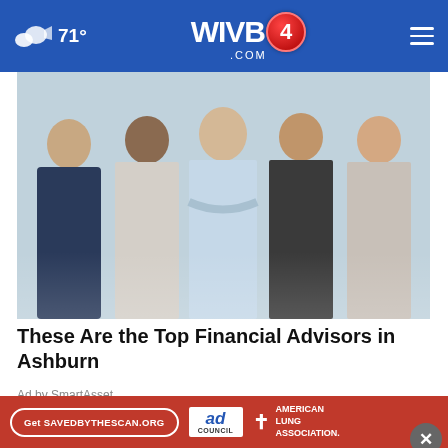71° WIVB4.COM
[Figure (photo): Group photo of five business professionals standing together against a blue-grey background]
These Are the Top Financial Advisors in Ashburn
Ad by SmartAsset
MORE STORIES ›
Palestinian toll mounts as Israel steps up West Bank …
recalls 'tragic
[Figure (screenshot): American Lung Association advertisement banner with 'Get SAVEDBYTHESCAN.ORG' button and Ad Council logo]